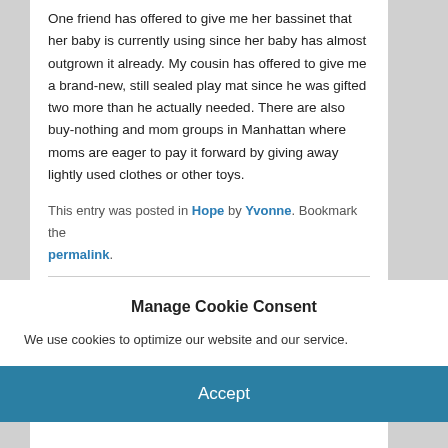One friend has offered to give me her bassinet that her baby is currently using since her baby has almost outgrown it already. My cousin has offered to give me a brand-new, still sealed play mat since he was gifted two more than he actually needed. There are also buy-nothing and mom groups in Manhattan where moms are eager to pay it forward by giving away lightly used clothes or other toys.
This entry was posted in Hope by Yvonne. Bookmark the permalink.
Manage Cookie Consent
We use cookies to optimize our website and our service.
Accept